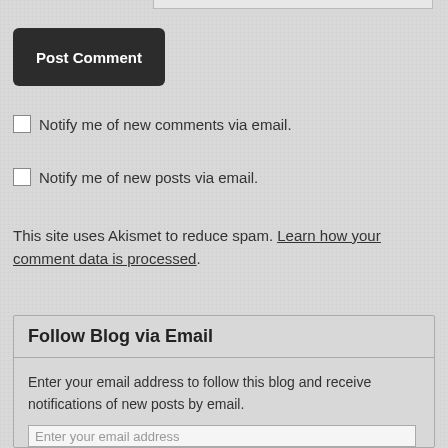Post Comment
Notify me of new comments via email.
Notify me of new posts via email.
This site uses Akismet to reduce spam. Learn how your comment data is processed.
Follow Blog via Email
Enter your email address to follow this blog and receive notifications of new posts by email.
Enter your email address